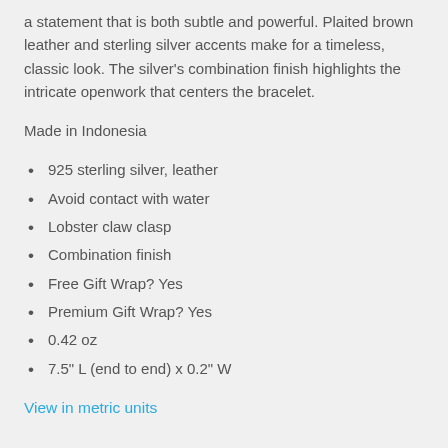a statement that is both subtle and powerful. Plaited brown leather and sterling silver accents make for a timeless, classic look. The silver's combination finish highlights the intricate openwork that centers the bracelet.
Made in Indonesia
925 sterling silver, leather
Avoid contact with water
Lobster claw clasp
Combination finish
Free Gift Wrap? Yes
Premium Gift Wrap? Yes
0.42 oz
7.5" L (end to end) x 0.2" W
View in metric units